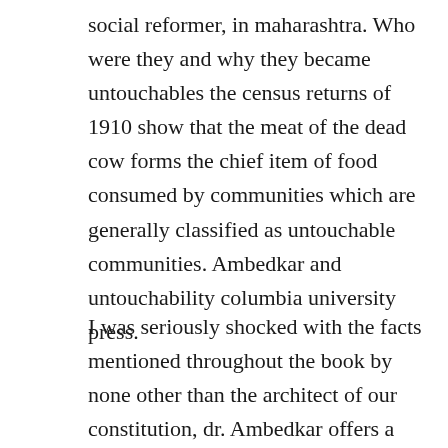social reformer, in maharashtra. Who were they and why they became untouchables the census returns of 1910 show that the meat of the dead cow forms the chief item of food consumed by communities which are generally classified as untouchable communities. Ambedkar and untouchability columbia university press.
I was seriously shocked with the facts mentioned throughout the book by none other than the architect of our constitution, dr. Ambedkar offers a deductive, and at times a